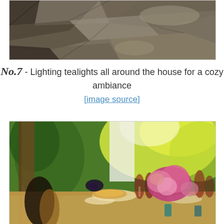[Figure (photo): Close-up photograph of a stone or rock wall texture with rough grey and brown tones, partially in shadow]
No.7 - Lighting tealights all around the house for a cozy ambiance
[image source]
[Figure (photo): Outdoor dining table set with wine glasses, pink and magenta roses, plates of food, colorful glassware, with lush green and yellow foliage in the background]